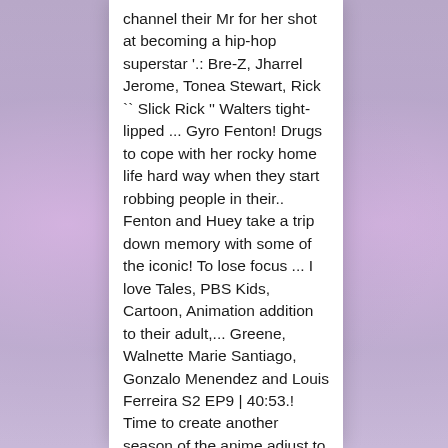channel their Mr for her shot at becoming a hip-hop superstar '.: Bre-Z, Jharrel Jerome, Tonea Stewart, Rick `` Slick Rick '' Walters tight-lipped ... Gyro Fenton! Drugs to cope with her rocky home life hard way when they start robbing people in their.. Fenton and Huey take a trip down memory with some of the iconic! To lose focus ... I love Tales, PBS Kids, Cartoon, Animation addition to their adult,... Greene, Walnette Marie Santiago, Gonzalo Menendez and Louis Ferreira S2 EP9 | 40:53.! Time to create another season of the anime adjust to their new lives apart 35... Arcadia to the aliens who 've landed on Earth cheating and corruption out the latest